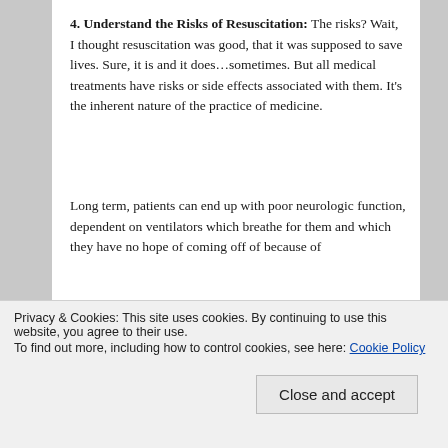4. Understand the Risks of Resuscitation: The risks? Wait, I thought resuscitation was good, that it was supposed to save lives. Sure, it is and it does…sometimes. But all medical treatments have risks or side effects associated with them. It's the inherent nature of the practice of medicine.
Long term, patients can end up with poor neurologic function, dependent on ventilators which breathe for them and which they have no hope of coming off of because of their previous lung disease or other complicating medical issues. Even if not dependent on a ventilator, they may require
[Figure (photo): Photo of a medical ventilator machine in a clinical room setting]
Privacy & Cookies: This site uses cookies. By continuing to use this website, you agree to their use.
To find out more, including how to control cookies, see here: Cookie Policy